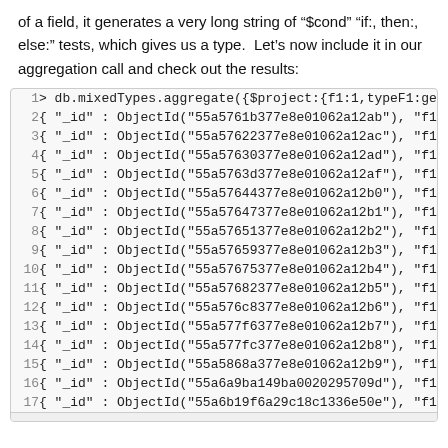of a field, it generates a very long string of "$cond" "if:, then:, else:" tests, which gives us a type. Let's now include it in our aggregation call and check out the results:
[Figure (screenshot): Code block showing MongoDB aggregation query output with lines 1-17, each showing ObjectId results with _id and f1 fields]